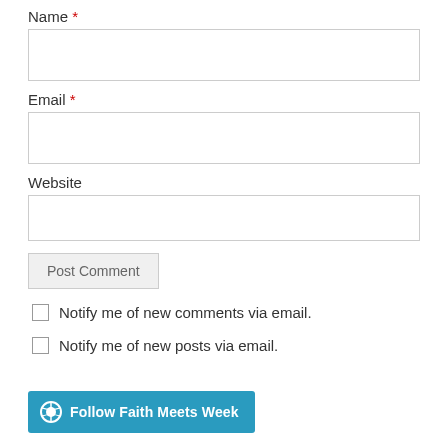Name *
[Figure (screenshot): Text input field for Name]
Email *
[Figure (screenshot): Text input field for Email]
Website
[Figure (screenshot): Text input field for Website]
[Figure (screenshot): Post Comment button]
Notify me of new comments via email.
Notify me of new posts via email.
[Figure (screenshot): Follow Faith Meets Week button with WordPress logo]